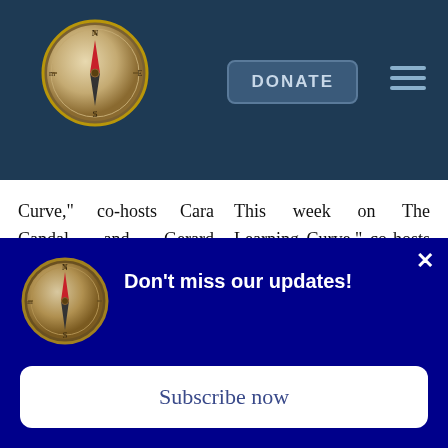DONATE
Curve," co-hosts Cara Candal and Gerard Robinson talk with Cass Sunstein, the Robert Walmsley University Professor at Harvard Law School and the author
This week on The Learning Curve," co-hosts Cara Candal and Gerard Robinson talk with Dr. Eric Hanushek, the Paul and Jean Hanna Senior Fellow at the Hoover Institution of
Don't miss our updates!
Subscribe now